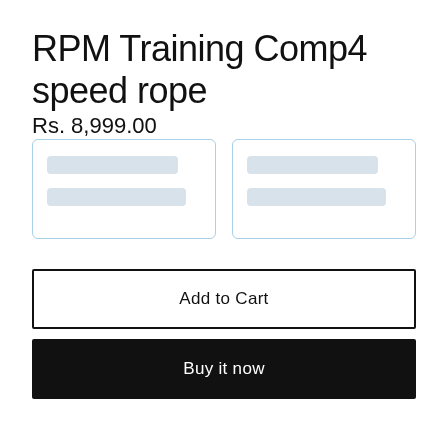RPM Training Comp4 speed rope
Rs. 8,999.00
[Figure (other): Two variant selector cards side by side, each with two placeholder loading bars inside, outlined with a light blue border.]
Add to Cart
Buy it now